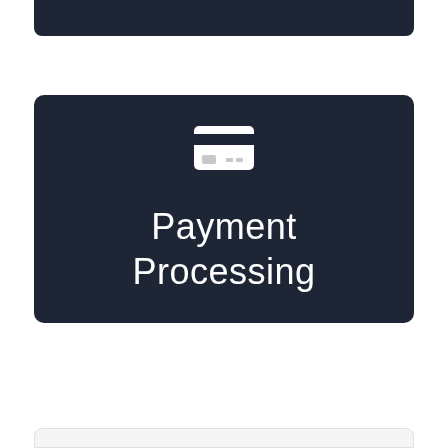[Figure (illustration): Top dark navy card/banner partially visible at top of page]
[Figure (illustration): Dark navy rounded rectangle card with a credit card icon and the text 'Payment Processing' centered inside]
[Figure (illustration): Bottom light card/banner partially visible at bottom of page]